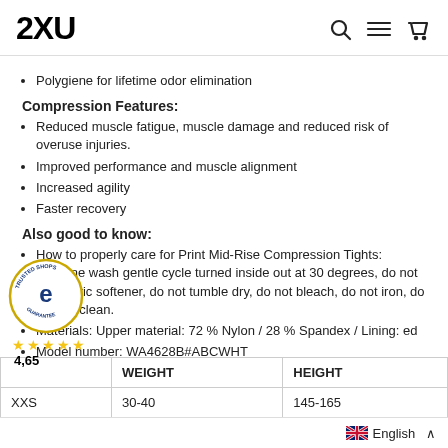2XU
Polygiene for lifetime odor elimination
Compression Features:
Reduced muscle fatigue, muscle damage and reduced risk of overuse injuries.
Improved performance and muscle alignment
Increased agility
Faster recovery
Also good to know:
How to properly care for Print Mid-Rise Compression Tights: Machine wash gentle cycle turned inside out at 30 degrees, do not use fabric softener, do not tumble dry, do not bleach, do not iron, do not dry clean.
Materials: Upper material: 72 % Nylon / 28 % Spandex / Lining: [text obscured]
Model number: WA4628B#ABCWHT
|  | WEIGHT | HEIGHT |
| --- | --- | --- |
| XXS | 30-40 | 145-165 |